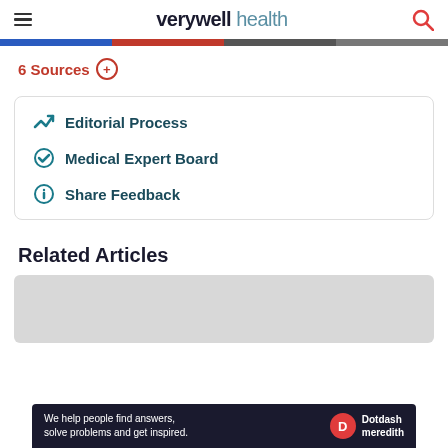verywell health
6 Sources +
Editorial Process
Medical Expert Board
Share Feedback
Related Articles
We help people find answers, solve problems and get inspired. Dotdash meredith